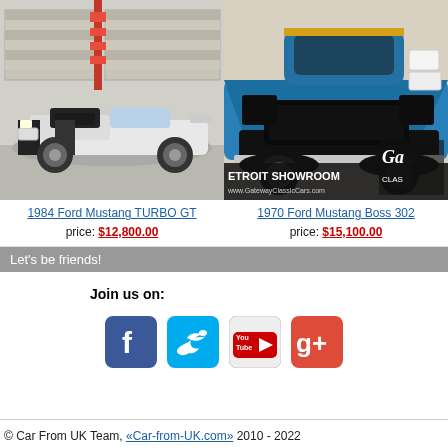[Figure (photo): 1984 Ford Mustang TURBO GT - white convertible with black stripes, parked in front of a garage]
[Figure (photo): 1970 Ford Mustang Boss 302 - blue race car with stickers, Detroit Showroom Gateway Classic Cars overlay]
1984 Ford Mustang TURBO GT
price: $12,800.00
1970 Ford Mustang Boss 302
price: $15,100.00
Let's be friends!
Join us on:
[Figure (logo): Facebook icon - blue square with white f]
[Figure (logo): Twitter icon - cyan square with white bird]
[Figure (logo): YouTube icon - red/white square with You Tube text]
[Figure (logo): Google Plus icon - red/orange square with g+ text]
© Car From UK Team, «Car-from-UK.com» 2010 - 2022